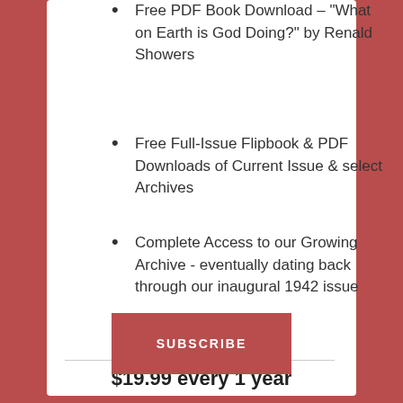Free PDF Book Download – "What on Earth is God Doing?" by Renald Showers
Free Full-Issue Flipbook & PDF Downloads of Current Issue & select Archives
Complete Access to our Growing Archive - eventually dating back through our inaugural 1942 issue
$19.99 every 1 year
SUBSCRIBE